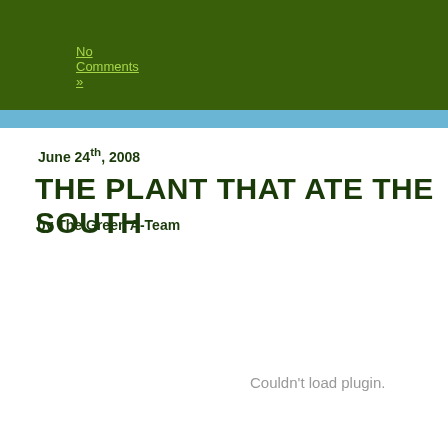No Comments »
June 24th, 2008
THE PLANT THAT ATE THE SOUTH
by The Green A-Team
Couldn't load plugin.